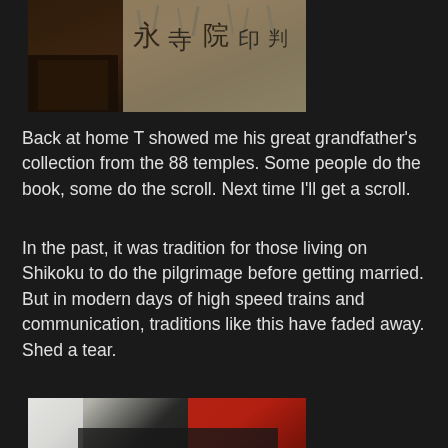[Figure (photo): Partial view of a person holding a book with Japanese calligraphy/stamps, cropped at top]
Back at home T showed me his great grandfather's collection from the 88 temples. Some people do the book, some do the scroll. Next time I'll get a scroll.
In the past, it was tradition for those living on Shikoku to do the pilgrimage before getting married. But in modern days of high speed trains and communication, traditions like this have faded away. Shed a tear.
[Figure (photo): A person in white clothing working on or near industrial machinery with cables/wires, gears and mechanical components visible]